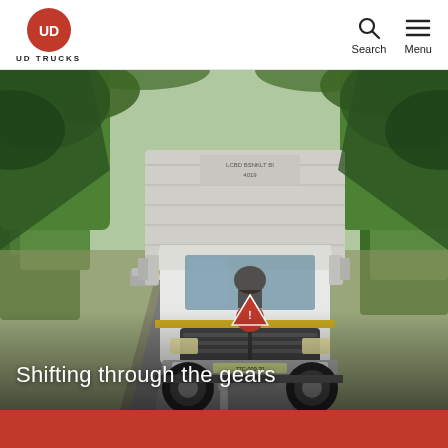UD TRUCKS — Search | Menu
[Figure (photo): A white UD Trucks heavy-duty truck with a cargo container driving on a tree-lined road, photographed from the front-left angle. The truck has a yellow and red stripe accent and a red warning triangle on the grille. Lush green trees line both sides of the road.]
Shifting through the gears